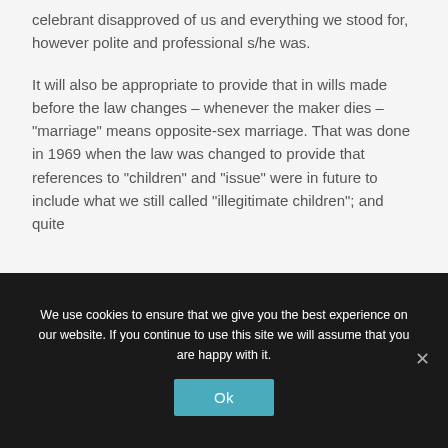celebrant disapproved of us and everything we stood for, however polite and professional s/he was.
It will also be appropriate to provide that in wills made before the law changes – whenever the maker dies – "marriage" means opposite-sex marriage. That was done in 1969 when the law was changed to provide that references to "children" and "issue" were in future to include what we still called "illegitimate children"; and quite
We use cookies to ensure that we give you the best experience on our website. If you continue to use this site we will assume that you are happy with it.